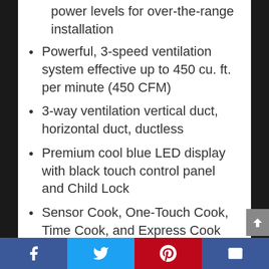power levels for over-the-range installation
Powerful, 3-speed ventilation system effective up to 450 cu. ft. per minute (450 CFM)
3-way ventilation vertical duct, horizontal duct, ductless
Premium cool blue LED display with black touch control panel and Child Lock
Sensor Cook, One-Touch Cook, Time Cook, and Express Cook
Auto and Time defrost options plus Keep Warm function and 2-stage
Facebook | Twitter | Pinterest | Email